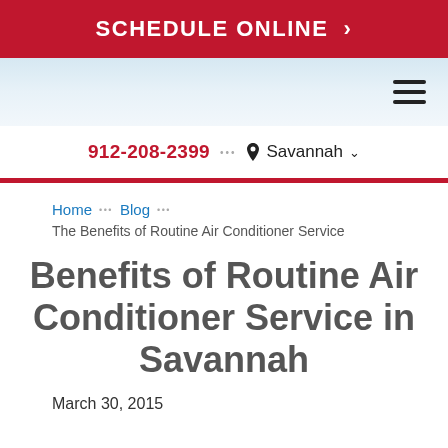SCHEDULE ONLINE >
[Figure (screenshot): Navigation bar with hamburger menu icon on right side, light blue gradient background]
912-208-2399 ••• 📍 Savannah ∨
Home ••• Blog ••• The Benefits of Routine Air Conditioner Service
Benefits of Routine Air Conditioner Service in Savannah
March 30, 2015